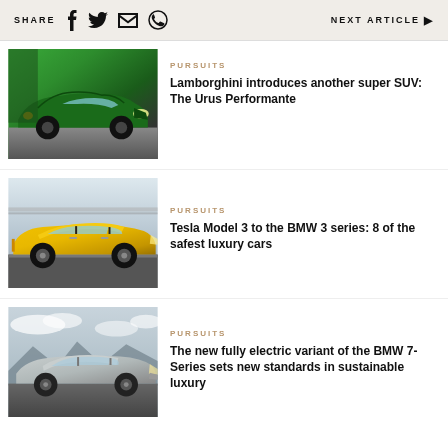SHARE  [facebook] [twitter] [email] [whatsapp]   NEXT ARTICLE ▶
[Figure (photo): Green Lamborghini Urus Performante SUV driving on road, front-angle view]
PURSUITS
Lamborghini introduces another super SUV: The Urus Performante
[Figure (photo): Yellow BMW/luxury sedan driving on a racetrack, side profile view]
PURSUITS
Tesla Model 3 to the BMW 3 series: 8 of the safest luxury cars
[Figure (photo): Silver/grey BMW 7-Series electric driving on a mountain road under cloudy sky]
PURSUITS
The new fully electric variant of the BMW 7-Series sets new standards in sustainable luxury